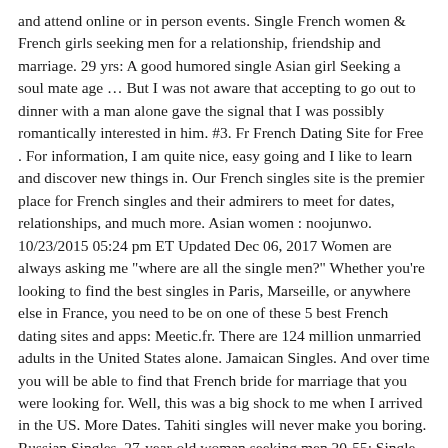and attend online or in person events. Single French women & French girls seeking men for a relationship, friendship and marriage. 29 yrs: A good humored single Asian girl Seeking a soul mate age … But I was not aware that accepting to go out to dinner with a man alone gave the signal that I was possibly romantically interested in him. #3. Fr French Dating Site for Free . For information, I am quite nice, easy going and I like to learn and discover new things in. Our French singles site is the premier place for French singles and their admirers to meet for dates, relationships, and much more. Asian women : noojunwo. 10/23/2015 05:24 pm ET Updated Dec 06, 2017 Women are always asking me "where are all the single men?" Whether you're looking to find the best singles in Paris, Marseille, or anywhere else in France, you need to be on one of these 5 best French dating sites and apps: Meetic.fr. There are 124 million unmarried adults in the United States alone. Jamaican Singles. And over time you will be able to find that French bride for marriage that you were looking for. Well, this was a big shock to me when I arrived in the US. More Dates. Tahiti singles will never make you boring. Russian Singles. 27-year-old woman seeking men 20-55; Single - never married. If you want to keep things old-school and go looking for your potential love-match in a bar, two of Paris' 20 arrondissements are better suited to this kind of approach: the 10th and the 11th right next door, which are less touristy and more densely populated with people who are young, single and ready to